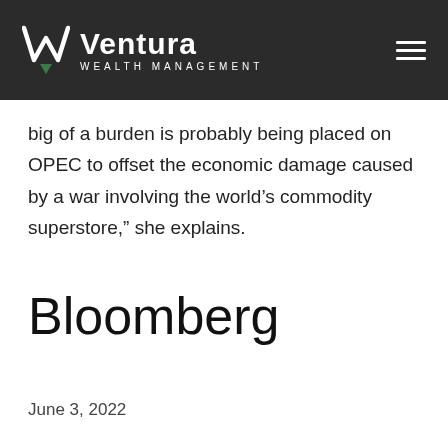Ventura Wealth Management
big of a burden is probably being placed on OPEC to offset the economic damage caused by a war involving the world’s commodity superstore,” she explains.
Bloomberg
June 3, 2022